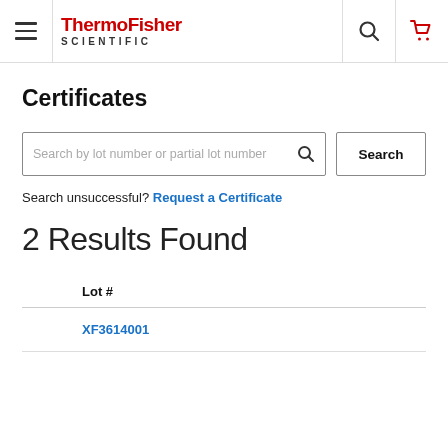ThermoFisher SCIENTIFIC
Certificates
Search by lot number or partial lot number
Search unsuccessful? Request a Certificate
2 Results Found
| Lot # |
| --- |
| XF3614001 |